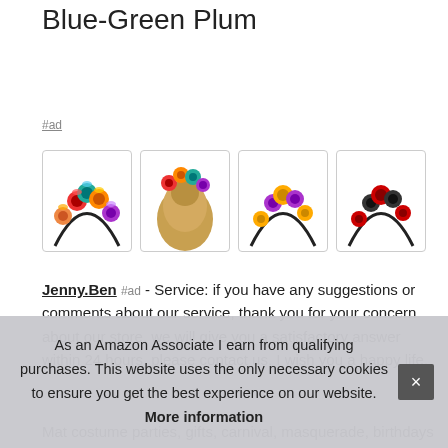Blue-Green Plum
#ad
[Figure (photo): Four product images of colorful floral rose headbands on a white background; first shows rainbow roses on a headband, second shows headband worn on blonde updo hair from behind, third shows yellow and purple rose headband front view, fourth shows red and black rose headband]
Jenny.Ben #ad - Service: if you have any suggestions or comments about our service, thank you for your concern about our store, we will give you a satisfactory answer within 24 hours, please contact us. I wish you a happy life.
Mat costume parties, gifts, carnival, masquerade, birthdays and
As an Amazon Associate I earn from qualifying purchases. This website uses the only necessary cookies to ensure you get the best experience on our website. More information